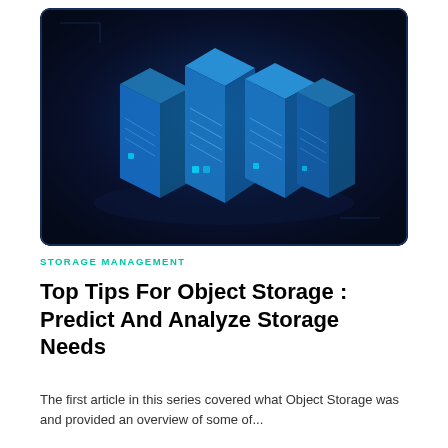[Figure (illustration): Isometric illustration of four glowing blue server/data storage units arranged together on a dark navy blue background with subtle circuit-like patterns]
STORAGE MANAGEMENT
Top Tips For Object Storage : Predict And Analyze Storage Needs
The first article in this series covered what Object Storage was and provided an overview of some of...